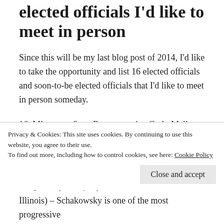elected officials I'd like to meet in person
Since this will be my last blog post of 2014, I'd like to take the opportunity and list 16 elected officials and soon-to-be elected officials that I'd like to meet in person someday.
16. Minnesota State Representative Carly Melin (D-Hibbing) – Melin, a member of the Minnesota House of Representatives from the Iron Range region of the state, is like me in many ways: Progressive on a wide range of issues, millennial, not from a large city, loves
Privacy & Cookies: This site uses cookies. By continuing to use this website, you agree to their use.
To find out more, including how to control cookies, see here: Cookie Policy
Illinois) – Schakowsky is one of the most progressive